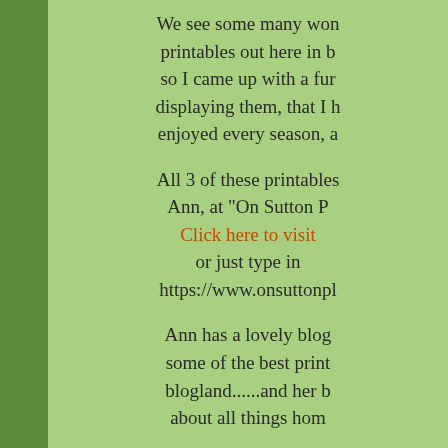We see some many wonderful printables out here in blogland, so I came up with a fun way of displaying them, that I hope can be enjoyed every season, a...
All 3 of these printables are from Ann, at "On Sutton Place". Click here to visit or just type in https://www.onsuttonpl...
Ann has a lovely blog with some of the best printables in blogland......and her blog is about all things hom...